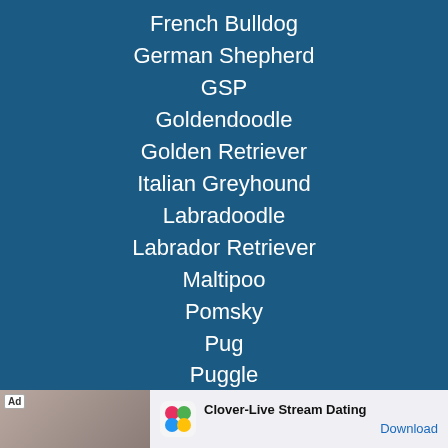French Bulldog
German Shepherd
GSP
Goldendoodle
Golden Retriever
Italian Greyhound
Labradoodle
Labrador Retriever
Maltipoo
Pomsky
Pug
Puggle
Rhodesian Ridgeback
Samoyed
Sheepadoodle
Vizsla
[Figure (infographic): Mobile advertisement banner for Clover-Live Stream Dating app with Ad label, app logo, app name, and Download button]